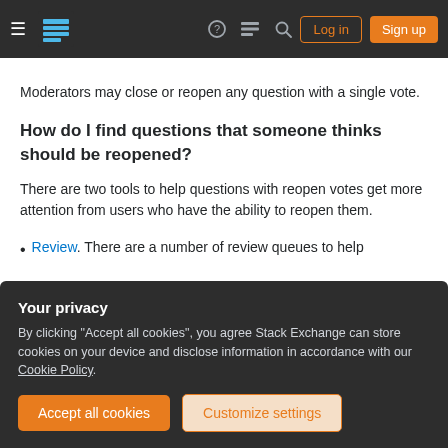Stack Exchange navigation header with Log in and Sign up buttons
Moderators may close or reopen any question with a single vote.
How do I find questions that someone thinks should be reopened?
There are two tools to help questions with reopen votes get more attention from users who have the ability to reopen them.
Review. There are a number of review queues to help
Your privacy
By clicking "Accept all cookies", you agree Stack Exchange can store cookies on your device and disclose information in accordance with our Cookie Policy.
Tools. Commonly referred to as the "10k tools", this page